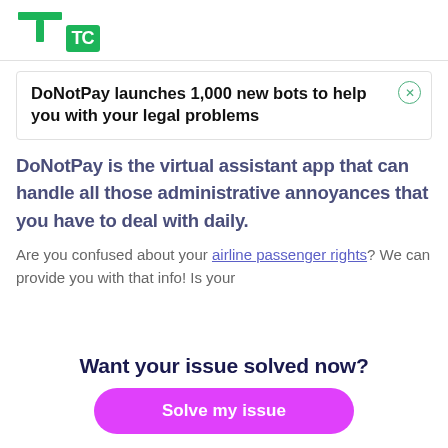TC
DoNotPay launches 1,000 new bots to help you with your legal problems
DoNotPay is the virtual assistant app that can handle all those administrative annoyances that you have to deal with daily.
Are you confused about your airline passenger rights? We can provide you with that info! Is your
Want your issue solved now?
Solve my issue